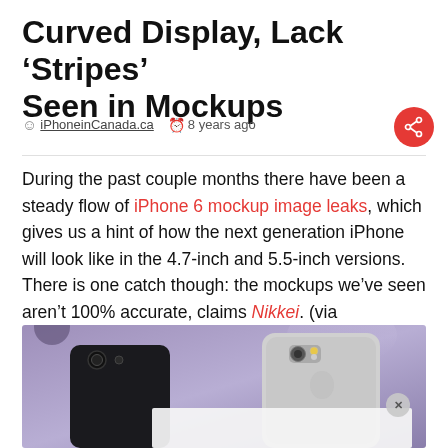Curved Display, Lack 'Stripes' Seen in Mockups
iPhoneinCanada.ca  8 years ago
During the past couple months there have been a steady flow of iPhone 6 mockup image leaks, which gives us a hint of how the next generation iPhone will look like in the 4.7-inch and 5.5-inch versions. There is one catch though: the mockups we've seen aren't 100% accurate, claims Nikkei. (via GforGames)
[Figure (photo): Photo showing iPhone 6 mockups side by side against a purple/lavender background. A dark black iPhone on the left and a silver/aluminum iPhone 6 prototype on the right showing the rear of the devices. A partial white overlay panel is visible at the bottom with a close button.]